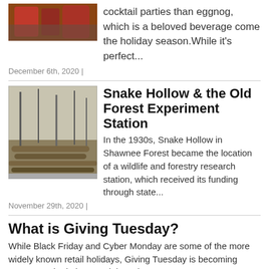cocktail parties than eggnog, which is a beloved beverage come the holiday season.While it's perfect...
December 6th, 2020 |
Snake Hollow & the Old Forest Experiment Station
In the 1930s, Snake Hollow in Shawnee Forest became the location of a wildlife and forestry research station, which received its funding through state...
November 29th, 2020 |
What is Giving Tuesday?
While Black Friday and Cyber Monday are some of the more widely known retail holidays, Giving Tuesday is becoming pretty popular in its own right.Cele...
November 29th, 2020 |
Fran's Favorite Rolls
2 packages yeast½ cup warm water1 ½ cup scalded milk½ cup butter or canola oil½ cup honey2 eggs1 teaspoon salt6-7 cups all purpose...
November 29th, 2020 |